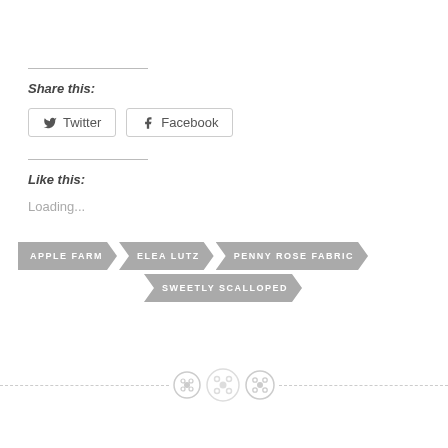Share this:
Twitter  Facebook
Like this:
Loading...
APPLE FARM
ELEA LUTZ
PENNY ROSE FABRIC
SWEETLY SCALLOPED
[Figure (illustration): Three decorative button icons forming a horizontal divider with dashed lines on each side]